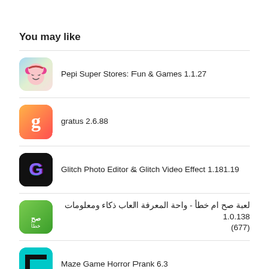You may like
Pepi Super Stores: Fun & Games 1.1.27
gratus 2.6.88
Glitch Photo Editor & Glitch Video Effect 1.181.19
لعبة صح ام خطأ - واحة المعرفة العاب ذكاء ومعلومات 1.0.138
(677)
Maze Game Horror Prank 6.3
Pages